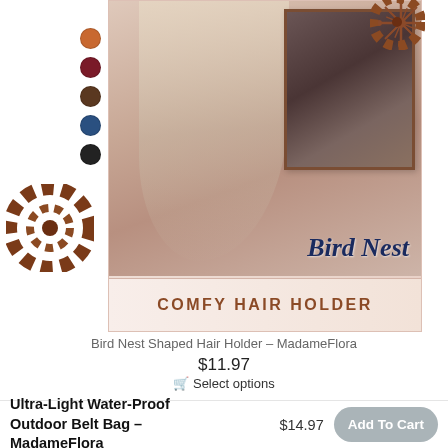[Figure (photo): Product promotional image for Bird Nest Comfy Hair Holder showing women with hair accessories, color dot swatches on left side (orange, dark red, brown, blue, black), decorative hair clip rings, a framed inset photo of woman with dark hair, script text 'Bird Nest' and bottom bar reading 'COMFY HAIR HOLDER'. Branded with mygear...x.com watermark.]
Bird Nest Shaped Hair Holder – MadameFlora
$11.97
🛒 Select options
Ultra-Light Water-Proof Outdoor Belt Bag - MadameFlora
$14.97
Add To Cart